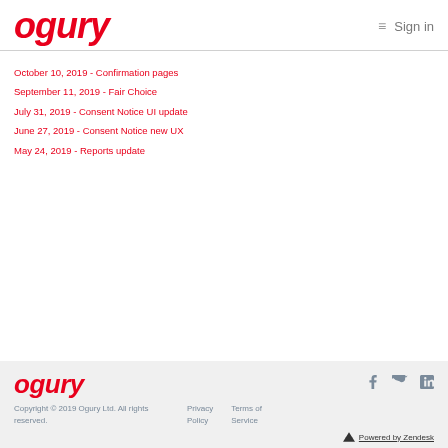ogury | Sign in
October 10, 2019 - Confirmation pages
September 11, 2019 - Fair Choice
July 31, 2019 - Consent Notice UI update
June 27, 2019 - Consent Notice new UX
May 24, 2019 - Reports update
ogury | Copyright © 2019 Ogury Ltd. All rights reserved. | Privacy Policy | Terms of Service | Powered by Zendesk